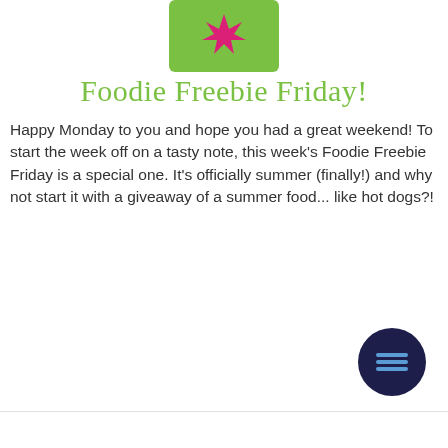[Figure (logo): Green shopping bag with pink starburst/star graphic on it, cropped at top]
Foodie Freebie Friday!
Happy Monday to you and hope you had a great weekend! To start the week off on a tasty note, this week's Foodie Freebie Friday is a special one. It's officially summer (finally!) and why not start it with a giveaway of a summer food... like hot dogs?!
[Figure (illustration): Dark navy circular button with three horizontal white lines (hamburger menu icon)]